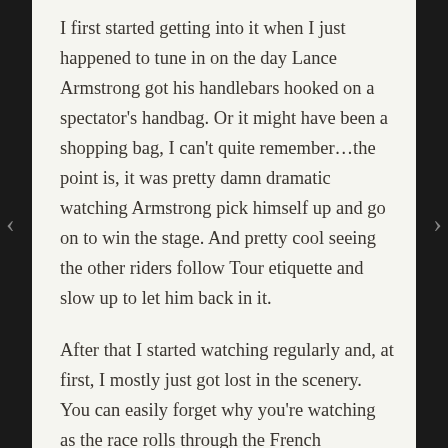I first started getting into it when I just happened to tune in on the day Lance Armstrong got his handlebars hooked on a spectator's handbag. Or it might have been a shopping bag, I can't quite remember…the point is, it was pretty damn dramatic watching Armstrong pick himself up and go on to win the stage. And pretty cool seeing the other riders follow Tour etiquette and slow up to let him back in it.
After that I started watching regularly and, at first, I mostly just got lost in the scenery. You can easily forget why you're watching as the race rolls through the French countryside, all undulating hills, charming villages, and meadows dotted with cows and sheep.